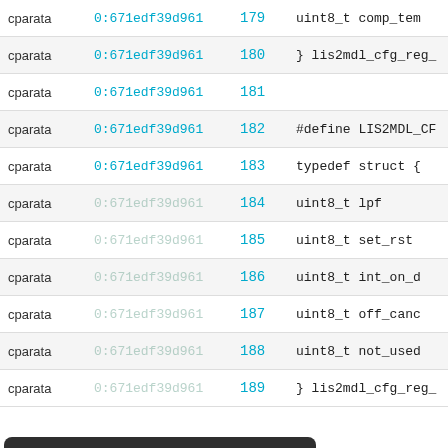| author | commit | line | code |
| --- | --- | --- | --- |
| cparata | 0:671edf39d961 | 179 | uint8_t comp_tem |
| cparata | 0:671edf39d961 | 180 | } lis2mdl_cfg_reg_ |
| cparata | 0:671edf39d961 | 181 |  |
| cparata | 0:671edf39d961 | 182 | #define LIS2MDL_CF |
| cparata | 0:671edf39d961 | 183 | typedef struct { |
| cparata | 0:671edf39d961 | 184 |   uint8_t lpf |
| cparata | 0:671edf39d961 | 185 |   uint8_t set_rst |
| cparata | 0:671edf39d961 | 186 |   uint8_t int_on_d |
| cparata | 0:671edf39d961 | 187 |   uint8_t off_canc |
| cparata | 0:671edf39d961 | 188 |   uint8_t not_used |
| cparata | 0:671edf39d961 | 189 | } lis2mdl_cfg_reg_ |
Important Information for this Arm website
This site uses cookies to store information on your computer. By continuing to use our site, you consent to our cookies. If you are not happy with the use of these cookies, please review our Cookie Policy to learn how they can be disabled. By disabling cookies, some features of the site will not work.
Accept and hide this message